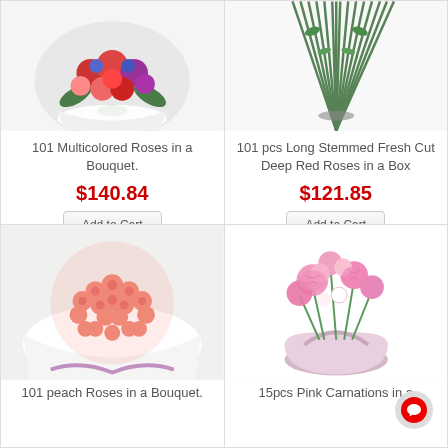[Figure (photo): 101 Multicolored Roses in a Bouquet - product photo showing colorful roses arrangement]
101 Multicolored Roses in a Bouquet.
$140.84
Add to Cart
[Figure (photo): 101 pcs Long Stemmed Fresh Cut Deep Red Roses in a Box - product photo showing long stemmed roses from top]
101 pcs Long Stemmed Fresh Cut Deep Red Roses in a Box
$121.85
Add to Cart
[Figure (photo): 101 peach Roses in a Bouquet - product photo showing large round bouquet of peach/pink roses wrapped in white paper]
101 peach Roses in a Bouquet.
[Figure (photo): 15pcs Pink Carnations in a basket arrangement with greenery]
15pcs Pink Carnations in a